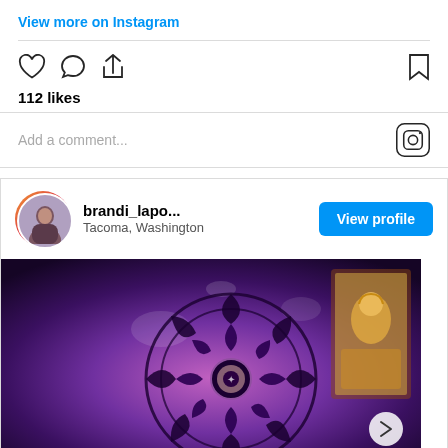View more on Instagram
112 likes
Add a comment...
[Figure (screenshot): Instagram profile card with avatar photo, username brandi_lapo..., location Tacoma, Washington, and a blue View profile button]
[Figure (photo): A purple and pink mandala painting on canvas photographed at an angle in an art studio. A colorful Ganesha painting is visible in the background.]